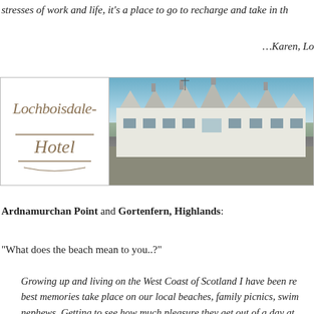stresses of work and life, it's a place to go to recharge and take in th
…Karen, Lo
[Figure (photo): Lochboisdale Hotel logo on the left (script lettering in a bordered box) and a photograph of the hotel building on the right showing a large white Scottish baronial-style building under a blue sky]
Ardnamurchan Point and Gortenfern, Highlands:
“What does the beach mean to you..?”
Growing up and living on the West Coast of Scotland I have been re... best memories take place on our local beaches, family picnics, swim... nephews. Getting to see how much pleasure they get out of a day at